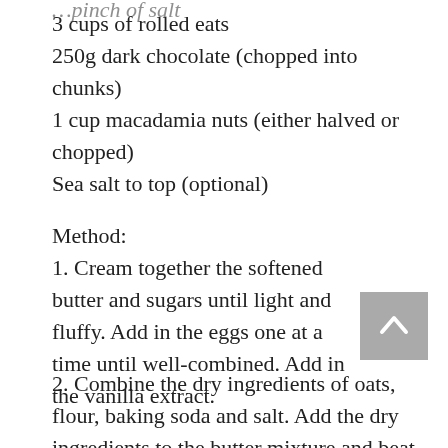3 cups of rolled eats
250g dark chocolate (chopped into chunks)
1 cup macadamia nuts (either halved or chopped)
Sea salt to top (optional)
Method:
1. Cream together the softened butter and sugars until light and fluffy. Add in the eggs one at a time until well-combined. Add in the vanilla extract.
2. Combine the dry ingredients of oats, flour, baking soda and salt. Add the dry ingredients to the butter mixture and beat gently until just combined.